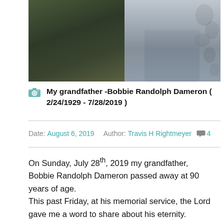[Figure (photo): Two photos side by side: left shows a man in military uniform (dark olive), right shows an elderly person seated in a floral chair wearing grey pants.]
My grandfather -Bobbie Randolph Dameron ( 2/24/1929 - 7/28/2019 )
Date: August 6, 2019   Author: Travis H Rightmeyer   4
On Sunday, July 28th, 2019 my grandfather, Bobbie Randolph Dameron passed away at 90 years of age.
This past Friday, at his memorial service, the Lord gave me a word to share about his eternity.
Given the events over the last few days, as we continue to see how in an instant life can end, I wanted to share